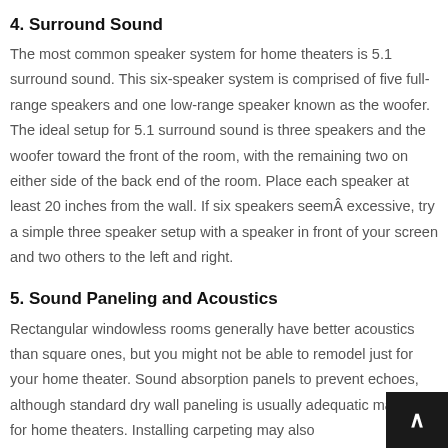4. Surround Sound
The most common speaker system for home theaters is 5.1 surround sound. This six-speaker system is comprised of five full-range speakers and one low-range speaker known as the woofer. The ideal setup for 5.1 surround sound is three speakers and the woofer toward the front of the room, with the remaining two on either side of the back end of the room. Place each speaker at least 20 inches from the wall. If six speakers seemÂ excessive, try a simple three speaker setup with a speaker in front of your screen and two others to the left and right.
5. Sound Paneling and Acoustics
Rectangular windowless rooms generally have better acoustics than square ones, but you might not be able to remodel just for your home theater. Sound absorption panels to prevent echoes, although standard dry wall paneling is usually adequat tic material for home theaters. Installing carpeting may also